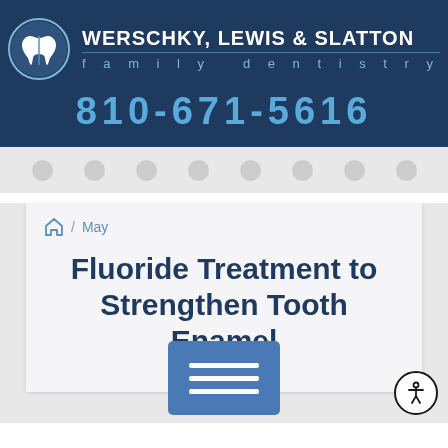WERSCHKY, LEWIS & SLATTON family dentistry
810-671-5616
Home / May
Fluoride Treatment to Strengthen Tooth Enamel
May 16